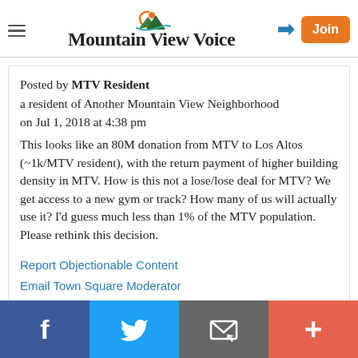Mountain View Voice
Posted by MTV Resident
a resident of Another Mountain View Neighborhood
on Jul 1, 2018 at 4:38 pm
This looks like an 80M donation from MTV to Los Altos (~1k/MTV resident), with the return payment of higher building density in MTV. How is this not a lose/lose deal for MTV? We get access to a new gym or track? How many of us will actually use it? I'd guess much less than 1% of the MTV population. Please rethink this decision.
Report Objectionable Content
Email Town Square Moderator
Facebook | Twitter | Email | More